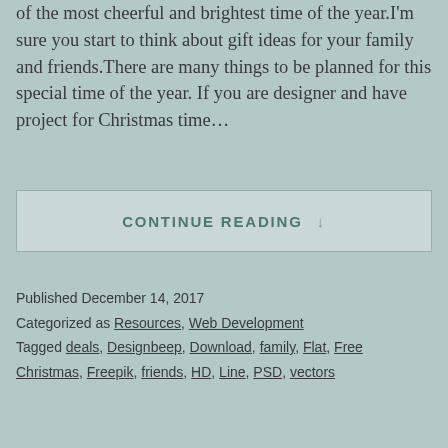of the most cheerful and brightest time of the year.I'm sure you start to think about gift ideas for your family and friends.There are many things to be planned for this special time of the year. If you are designer and have project for Christmas time…
CONTINUE READING ↓
Published December 14, 2017
Categorized as Resources, Web Development
Tagged deals, Designbeep, Download, family, Flat, Free Christmas, Freepik, friends, HD, Line, PSD, vectors